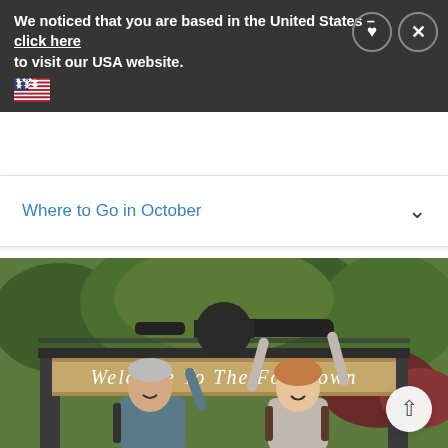We noticed that you are based in the United States – click here to visit our USA website.
Where to Go in October
[Figure (photo): Two people (an older man with grey hair wearing a blue-grey jacket and a younger red-haired woman in a grey top with a backpack) standing in front of a wooden sign reading 'Welcome To The Fort Town'. There is a cannon on top of a metal arch above the sign. Background shows green/autumn trees.]